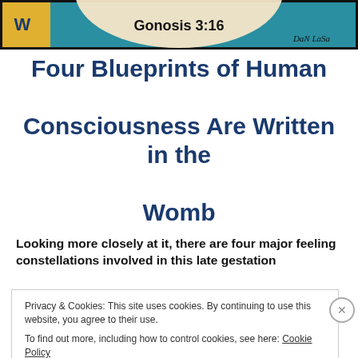[Figure (illustration): Header banner image showing a colorful illustration with text 'Gonosis 3:16' and a signature 'DaN LaSa' on a teal/yellow background]
Four Blueprints of Human Consciousness Are Written in the Womb
Looking more closely at it, there are four major feeling constellations involved in this late gestation
Privacy & Cookies: This site uses cookies. By continuing to use this website, you agree to their use.
To find out more, including how to control cookies, see here: Cookie Policy
Close and accept